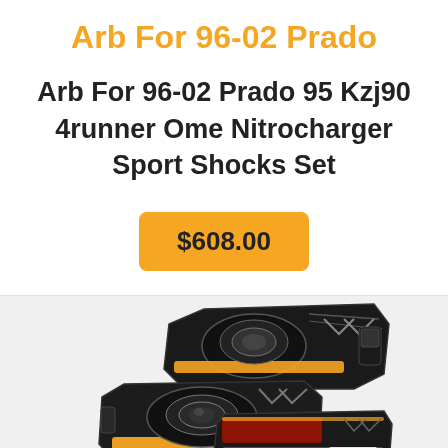Arb For 96-02 Prado
Arb For 96-02 Prado 95 Kzj90 4runner Ome Nitrocharger Sport Shocks Set
$608.00
[Figure (photo): Product photo showing a pair of black aftermarket LED headlights with amber DRL strips and red tail lighting elements, styled for automotive use.]